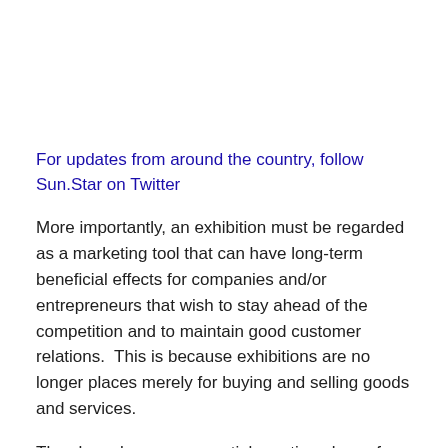For updates from around the country, follow Sun.Star on Twitter
More importantly, an exhibition must be regarded as a marketing tool that can have long-term beneficial effects for companies and/or entrepreneurs that wish to stay ahead of the competition and to maintain good customer relations.  This is because exhibitions are no longer places merely for buying and selling goods and services.
They have become essential meeting places for the communication of new ideas and technologies, the exchange of information, the establishment of new contacts, as well as the reinforcement of existing business